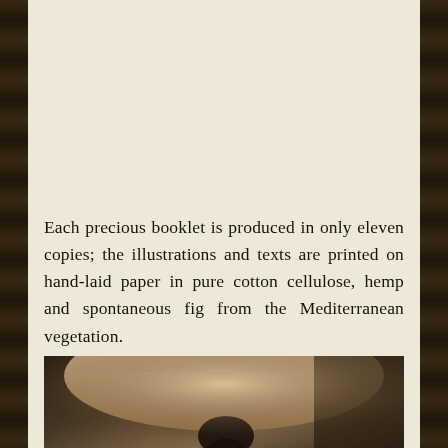Each precious booklet is produced in only eleven copies; the illustrations and texts are printed on hand-laid paper in pure cotton cellulose, hemp and spontaneous fig from the Mediterranean vegetation.
[Figure (photo): Close-up sepia-toned photograph of what appears to be an elderly person's hands or face with wrinkled skin, partially cropped at the bottom of the page.]